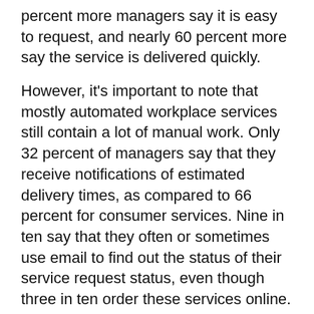percent more managers say it is easy to request, and nearly 60 percent more say the service is delivered quickly.
However, it's important to note that mostly automated workplace services still contain a lot of manual work. Only 32 percent of managers say that they receive notifications of estimated delivery times, as compared to 66 percent for consumer services. Nine in ten say that they often or sometimes use email to find out the status of their service request status, even though three in ten order these services online.
In other words, even when workplace services are automated, they fall short of the benchmark set by consumer services. Why? Because consumer services like what Amazon or FedEx provide are not just automated—they are consumerized. These companies focus on the user experience, with the overriding goal